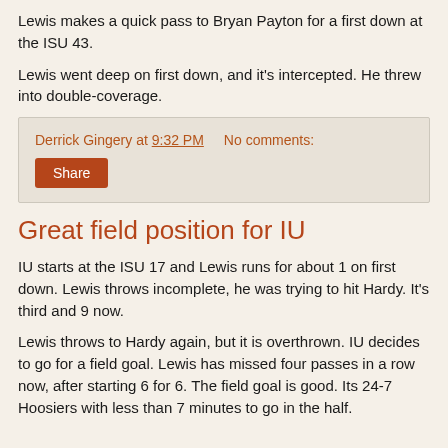Lewis makes a quick pass to Bryan Payton for a first down at the ISU 43.
Lewis went deep on first down, and it's intercepted. He threw into double-coverage.
Derrick Gingery at 9:32 PM   No comments:
Share
Great field position for IU
IU starts at the ISU 17 and Lewis runs for about 1 on first down. Lewis throws incomplete, he was trying to hit Hardy. It's third and 9 now.
Lewis throws to Hardy again, but it is overthrown. IU decides to go for a field goal. Lewis has missed four passes in a row now, after starting 6 for 6. The field goal is good. Its 24-7 Hoosiers with less than 7 minutes to go in the half.